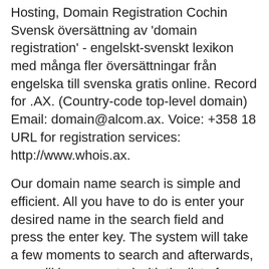Hosting, Domain Registration Cochin  Svensk översättning av 'domain registration' - engelskt-svenskt lexikon med många fler översättningar från engelska till svenska gratis online. Record for .AX. (Country-code top-level domain) Email: domain@alcom.ax. Voice: +358 18 URL for registration services: http://www.whois.ax.
Our domain name search is simple and efficient. All you have to do is enter your desired name in the search field and press the enter key. The system will take a few moments to search and afterwards, you will be presented with the list of domain options matching your search pattern! Search for a new domain name. Find available domain names that represent your online business. Setup made simple. Understall gravid